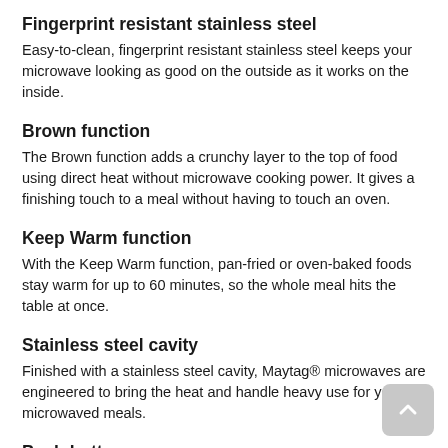Fingerprint resistant stainless steel
Easy-to-clean, fingerprint resistant stainless steel keeps your microwave looking as good on the outside as it works on the inside.
Brown function
The Brown function adds a crunchy layer to the top of food using direct heat without microwave cooking power. It gives a finishing touch to a meal without having to touch an oven.
Keep Warm function
With the Keep Warm function, pan-fried or oven-baked foods stay warm for up to 60 minutes, so the whole meal hits the table at once.
Stainless steel cavity
Finished with a stainless steel cavity, Maytag® microwaves are engineered to bring the heat and handle heavy use for years of microwaved meals.
Push button
With a seamless design, the push button delivers a clean look and easy access to the inside of the microwave-with